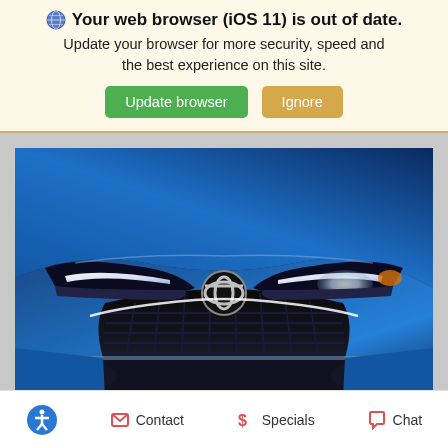Your web browser (iOS 11) is out of date. Update your browser for more security, speed and the best experience on this site. [Update browser] [Ignore]
[Figure (photo): Close-up front view of a blue Toyota car showing the grille, Toyota logo, and LED headlights]
Accessibility icon | Contact | $ Specials | Chat